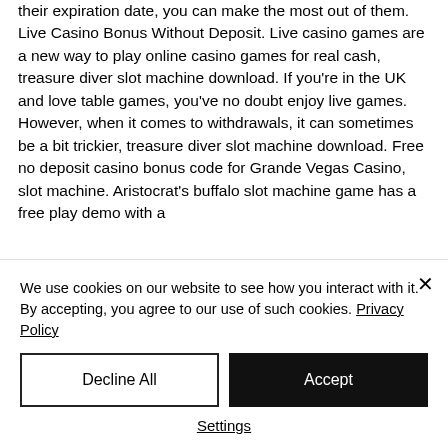their expiration date, you can make the most out of them. Live Casino Bonus Without Deposit. Live casino games are a new way to play online casino games for real cash, treasure diver slot machine download. If you're in the UK and love table games, you've no doubt enjoy live games. However, when it comes to withdrawals, it can sometimes be a bit trickier, treasure diver slot machine download. Free no deposit casino bonus code for Grande Vegas Casino, slot machine. Aristocrat's buffalo slot machine game has a free play demo with a
We use cookies on our website to see how you interact with it. By accepting, you agree to our use of such cookies. Privacy Policy
Decline All
Accept
Settings